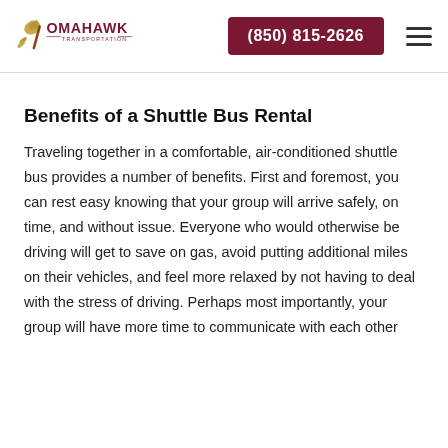Tomahawk Transportation | (850) 815-2626
Benefits of a Shuttle Bus Rental
Traveling together in a comfortable, air-conditioned shuttle bus provides a number of benefits. First and foremost, you can rest easy knowing that your group will arrive safely, on time, and without issue. Everyone who would otherwise be driving will get to save on gas, avoid putting additional miles on their vehicles, and feel more relaxed by not having to deal with the stress of driving. Perhaps most importantly, your group will have more time to communicate with each other